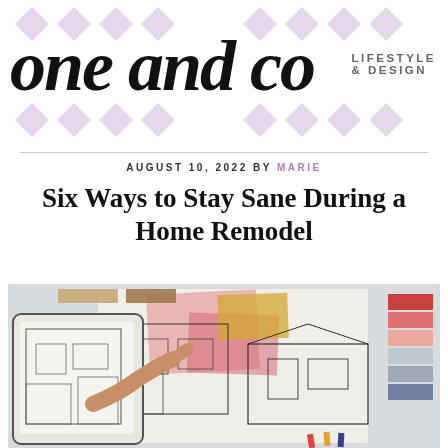[Figure (logo): One and Co Lifestyle & Design blog logo with script text and purple diamond decorations]
AUGUST 10, 2022 BY MARIE
Six Ways to Stay Sane During a Home Remodel
[Figure (photo): Person's hand pointing at architectural floor plan on tablet, surrounded by house sketches, color swatches, and material samples on a desk]